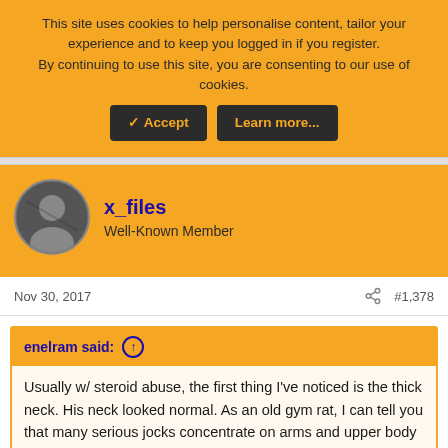This site uses cookies to help personalise content, tailor your experience and to keep you logged in if you register.
By continuing to use this site, you are consenting to our use of cookies.
Accept | Learn more...
x_files
Well-Known Member
Nov 30, 2017  #1,378
enelram said: ↑
Usually w/ steroid abuse, the first thing I've noticed is the thick neck. His neck looked normal. As an old gym rat, I can tell you that many serious jocks concentrate on arms and upper body muscle development and ignore legs and lower trunk, especially if they were born with skinny, underdeveloped calves.